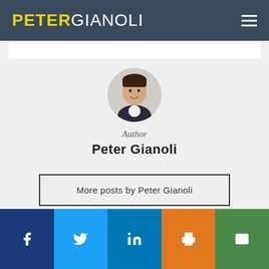PETER GIANOLI
[Figure (photo): Author headshot of Peter Gianoli, a man in a dark suit, smiling, circular crop]
Author
Peter Gianoli
More posts by Peter Gianoli
[Figure (infographic): Social sharing bar with Facebook, Twitter, LinkedIn, Print, and Email buttons]